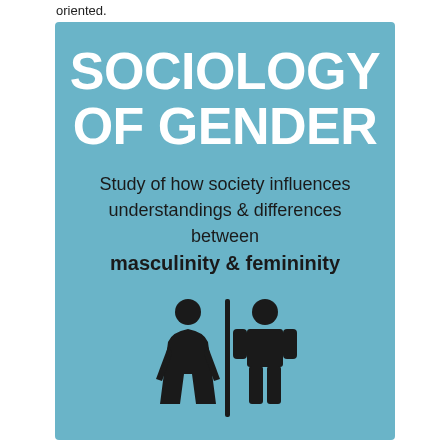oriented.
[Figure (infographic): Sociology of Gender infographic on a light blue background. Large white bold text reads 'SOCIOLOGY OF GENDER'. Below in dark text: 'Study of how society influences understandings & differences between masculinity & femininity'. At the bottom, silhouette icons of a female and male figure separated by a vertical bar.]